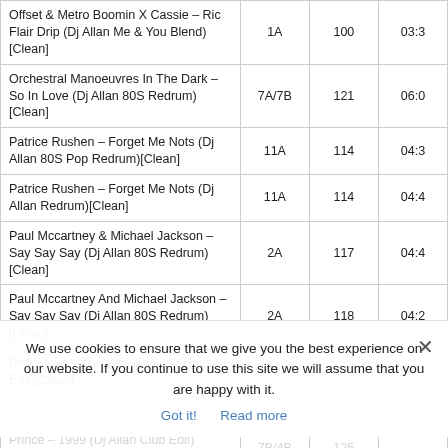| Title | Key | BPM | Time |
| --- | --- | --- | --- |
| Offset & Metro Boomin X Cassie – Ric Flair Drip (Dj Allan Me & You Blend)[Clean] | 1A | 100 | 03:3 |
| Orchestral Manoeuvres In The Dark – So In Love (Dj Allan 80S Redrum)[Clean] | 7A/7B | 121 | 06:0 |
| Patrice Rushen – Forget Me Nots (Dj Allan 80S Pop Redrum)[Clean] | 11A | 114 | 04:3 |
| Patrice Rushen – Forget Me Nots (Dj Allan Redrum)[Clean] | 11A | 114 | 04:4 |
| Paul Mccartney & Michael Jackson – Say Say Say (Dj Allan 80S Redrum)[Clean] | 2A | 117 | 04:4 |
| Paul Mccartney And Michael Jackson – Say Say Say (Dj Allan 80S Redrum)[Clean] | 2A | 118 | 04:2 |
| Pink Floyd – The Wall (Dj Allan House Edit)[Clean] | 7A | 126 | 04:4 |
| Prince – ... (Dj Allan ...) [Clean] | 7B | 133 | — |
| Prince – 1999 (Dj Allan Club Edit)[Clean] | 7B/4B | 125 | — |
We use cookies to ensure that we give you the best experience on our website. If you continue to use this site we will assume that you are happy with it.
Got it!   Read more